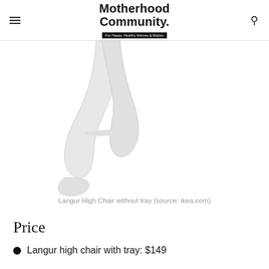Motherhood Community. For Happy, Healthy Mamas & Babies
[Figure (photo): Bottom portion of IKEA Langur High Chair showing white chair legs, photographed from below against a white background.]
Langur High Chair without tray (source: ikea.com)
Price
Langur high chair with tray: $149